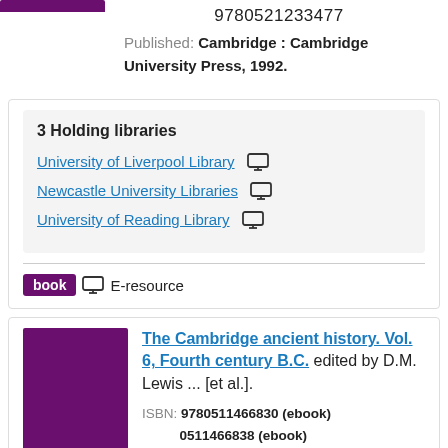9780521233477
Published: Cambridge : Cambridge University Press, 1992.
3 Holding libraries
University of Liverpool Library
Newcastle University Libraries
University of Reading Library
book  E-resource
The Cambridge ancient history. Vol. 6, Fourth century B.C. edited by D.M. Lewis ... [et al.].
ISBN: 9780511466830 (ebook) 0511466838 (ebook)
Edition: 2nd ed.